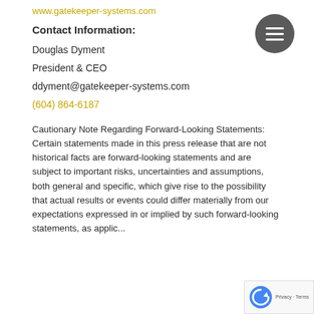www.gatekeeper-systems.com
Contact Information:
Douglas Dyment
President & CEO
ddyment@gatekeeper-systems.com
(604) 864-6187
Cautionary Note Regarding Forward-Looking Statements: Certain statements made in this press release that are not historical facts are forward-looking statements and are subject to important risks, uncertainties and assumptions, both general and specific, which give rise to the possibility that actual results or events could differ materially from our expectations expressed in or implied by such forward-looking statements, as applicable.